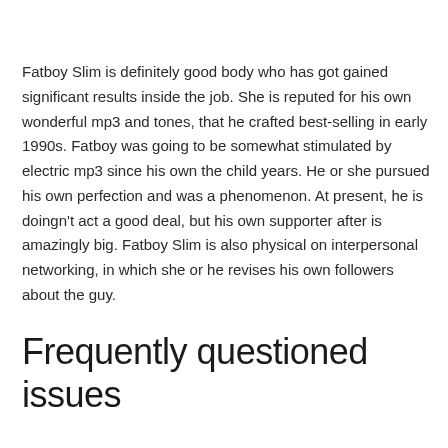Fatboy Slim is definitely good body who has got gained significant results inside the job. She is reputed for his own wonderful mp3 and tones, that he crafted best-selling in early 1990s. Fatboy was going to be somewhat stimulated by electric mp3 since his own the child years. He or she pursued his own perfection and was a phenomenon. At present, he is doingn't act a good deal, but his own supporter after is amazingly big. Fatboy Slim is also physical on interpersonal networking, in which she or he revises his own followers about the guy.
Frequently questioned issues